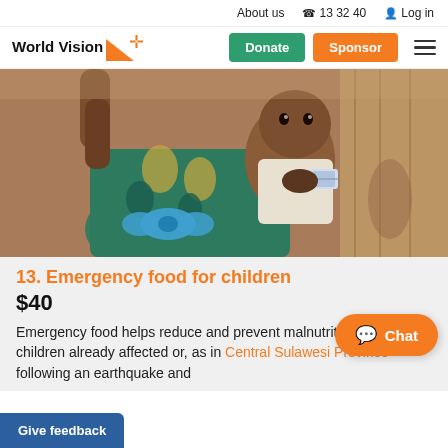About us   13 32 40   Log in
World Vision   Donate   Sponsor
[Figure (photo): A woman in a colorful African print dress with a blue bow holds a baby wearing a white onesie. The baby holds a small food packet. The setting appears to be a refugee or relief camp.]
13. Emergency food for children
$40
Emergency food helps reduce and prevent malnutrition in young children already affected or, as in Central Sulawesi Province following an earthquake and